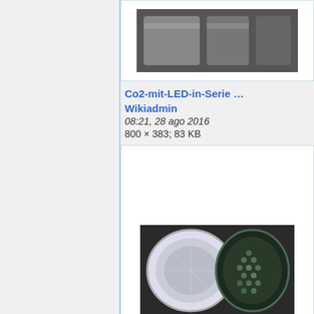[Figure (photo): Top portion of a file thumbnail image (cropped), showing a dark mechanical/electronic object]
Co2-mit-LED-in-Serie …
Wikiadmin
08:21, 28 ago 2016
800 × 383; 83 KB
[Figure (photo): Two circular LED lamp heads side by side — left one is silver/chrome, right one has a green-tinted honeycomb pattern]
Co2-mit-LED 99 01.jpg
Wikiadmin
08:21, 28 ago 2016
1 134 × 533; 167 KB
[Figure (photo): Partial view of a third thumbnail showing a warm amber/brown toned image, partially visible at bottom of page]